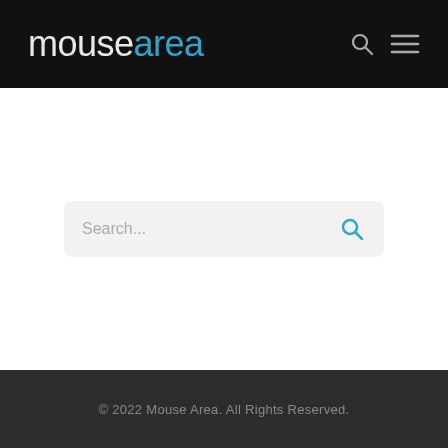mousearea
[Figure (other): Search bar with placeholder text 'Search...' and a blue search icon on the right, on a light gray rounded rectangle background]
© 2022 Mouse Area. All Rights Reserved.